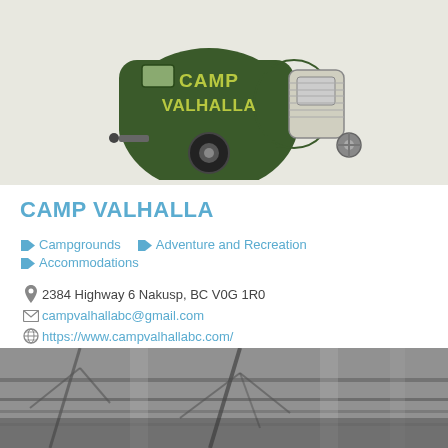[Figure (logo): Camp Valhalla logo: a dark green vintage camping trailer with 'CAMP VALHALLA' text in yellow-green letters on the side, drawn in a retro illustration style on a light beige/grey background.]
CAMP VALHALLA
Campgrounds
Adventure and Recreation
Accommodations
2384 Highway 6 Nakusp, BC V0G 1R0
campvalhallabc@gmail.com
https://www.campvalhallabc.com/
[Figure (photo): Black and white photo showing a building exterior with bare winter trees, partially cropped at the bottom of the page.]